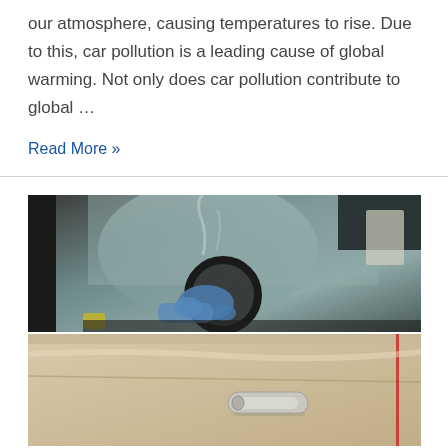our atmosphere, causing temperatures to rise. Due to this, car pollution is a leading cause of global warming. Not only does car pollution contribute to global …
Read More »
[Figure (photo): Two-part photo: top half shows interior view through a car window of a driver wearing a blue glove gripping the steering wheel with smoky haze in background; bottom half shows exterior view of a car door with chrome handle on a beige/tan car.]